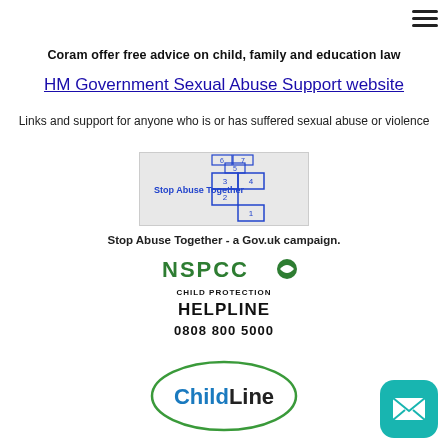≡
Coram offer free advice on child, family and education law
HM Government Sexual Abuse Support website
Links and support for anyone who is or has suffered sexual abuse or violence
[Figure (illustration): Stop Abuse Together image showing a hopscotch grid drawn in blue on grey background with text 'Stop Abuse Together']
Stop Abuse Together - a Gov.uk campaign.
[Figure (logo): NSPCC Child Protection Helpline logo with phone number 0808 800 5000]
[Figure (logo): ChildLine logo in green oval border]